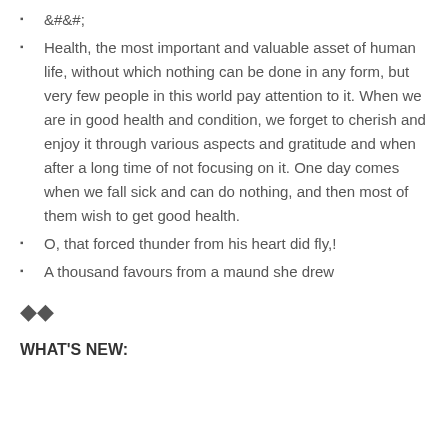&#;
Health, the most important and valuable asset of human life, without which nothing can be done in any form, but very few people in this world pay attention to it. When we are in good health and condition, we forget to cherish and enjoy it through various aspects and gratitude and when after a long time of not focusing on it. One day comes when we fall sick and can do nothing, and then most of them wish to get good health.
O, that forced thunder from his heart did fly,!
A thousand favours from a maund she drew
◆◆
WHAT'S NEW: